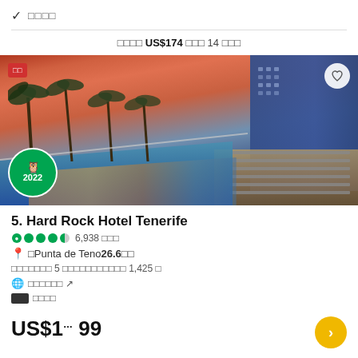✓ □□□□
□□□□ US$174 □□□ 14 □□□
[Figure (photo): Hotel pool and building at sunset with TripAdvisor 2022 badge]
5. Hard Rock Hotel Tenerife
●●●●◐ 6,938 □□□
📍 □Punta de Teno26.6□□
□□□□□□□ 5 □□□□□□□□□□□ 1,425 □
🌐 □□□□□□ ↗
🏷 □□□□
US$199